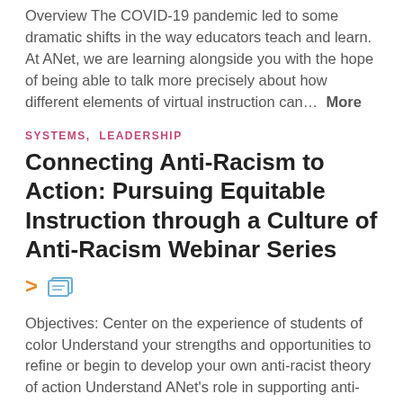Overview The COVID-19 pandemic led to some dramatic shifts in the way educators teach and learn. At ANet, we are learning alongside you with the hope of being able to talk more precisely about how different elements of virtual instruction can…  More
SYSTEMS, LEADERSHIP
Connecting Anti-Racism to Action: Pursuing Equitable Instruction through a Culture of Anti-Racism Webinar Series
[Figure (illustration): Orange right-arrow icon and blue card/document icon]
Objectives: Center on the experience of students of color Understand your strengths and opportunities to refine or begin to develop your own anti-racist theory of action Understand ANet's role in supporting anti-racism learning and…  More